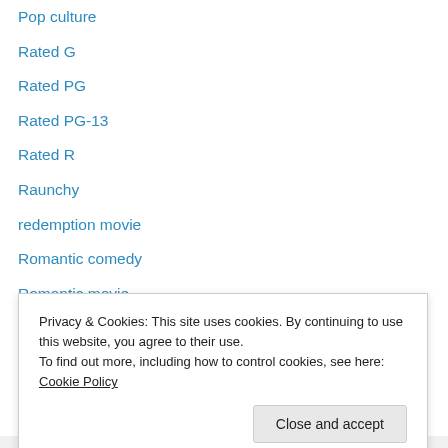Pop culture
Rated G
Rated PG
Rated PG-13
Rated R
Raunchy
redemption movie
Romantic comedy
Romantic movie
Sandra Bullock
Sci-fi
Shailene Woodley
suspense thriller
terrorist attacks
Privacy & Cookies: This site uses cookies. By continuing to use this website, you agree to their use. To find out more, including how to control cookies, see here: Cookie Policy
Close and accept